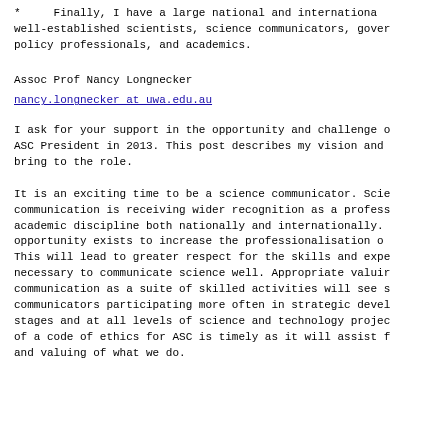*     Finally, I have a large national and international network of well-established scientists, science communicators, government policy professionals, and academics.
Assoc Prof Nancy Longnecker
nancy.longnecker at uwa.edu.au
I ask for your support in the opportunity and challenge of serving as ASC President in 2013. This post describes my vision and what I will bring to the role.
It is an exciting time to be a science communicator. Science communication is receiving wider recognition as a professional and academic discipline both nationally and internationally. A great opportunity exists to increase the professionalisation of our field. This will lead to greater respect for the skills and expertise necessary to communicate science well. Appropriate valuing of science communication as a suite of skilled activities will see science communicators participating more often in strategic development stages and at all levels of science and technology projects. Development of a code of ethics for ASC is timely as it will assist further respect and valuing of what we do.